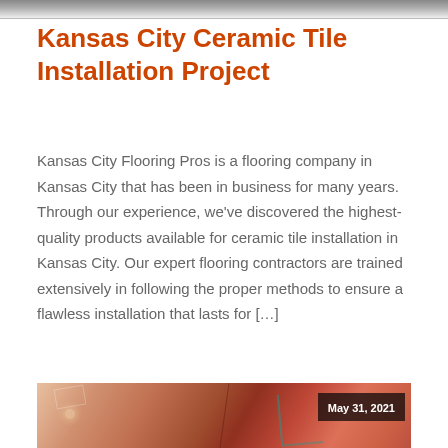[Figure (photo): Top portion of a photo, likely showing a flooring or tile installation scene, cropped at the top of the page]
Kansas City Ceramic Tile Installation Project
Kansas City Flooring Pros is a flooring company in Kansas City that has been in business for many years. Through our experience, we've discovered the highest-quality products available for ceramic tile installation in Kansas City. Our expert flooring contractors are trained extensively in following the proper methods to ensure a flawless installation that lasts for […]
Read More
[Figure (photo): Bottom portion showing a decorative or artistic interior photo with warm reddish-orange tones, with a date badge reading May 31, 2021]